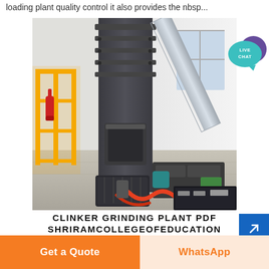loading plant quality control it also provides the nbsp...
[Figure (photo): Industrial clinker grinding plant machinery — a large vertical grinding mill with flanged connections, motor drive units, hydraulic components, and piping visible on a concrete floor inside a factory/plant building. Yellow safety railing and a fire extinguisher visible in background.]
[Figure (infographic): Live Chat speech bubble icon in teal/purple colors with text 'LIVE CHAT']
CLINKER GRINDING PLANT PDF SHRIRAMCOLLEGEOFEDUCATION
Get a Quote
WhatsApp